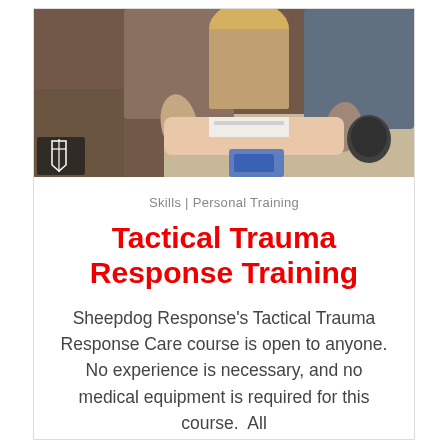[Figure (photo): Training scene showing people performing tactical trauma response care on a mannequin, with a logo in the bottom-left corner of the image]
Skills | Personal Training
Tactical Trauma Response Training
Sheepdog Response's Tactical Trauma Response Care course is open to anyone. No experience is necessary, and no medical equipment is required for this course.  All